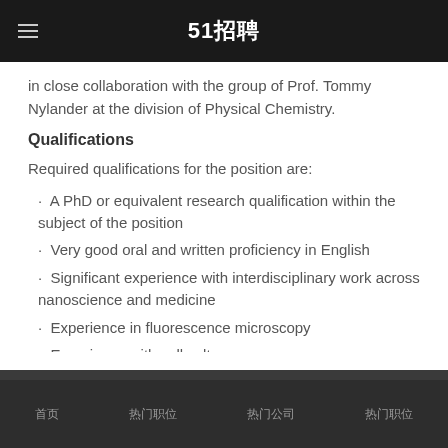51招聘
in close collaboration with the group of Prof. Tommy Nylander at the division of Physical Chemistry.
Qualifications
Required qualifications for the position are:
· A PhD or equivalent research qualification within the subject of the position
· Very good oral and written proficiency in English
· Significant experience with interdisciplinary work across nanoscience and medicine
· Experience in fluorescence microscopy
· Experience with cell culture
首页  热门职位  热门公司  热门职位